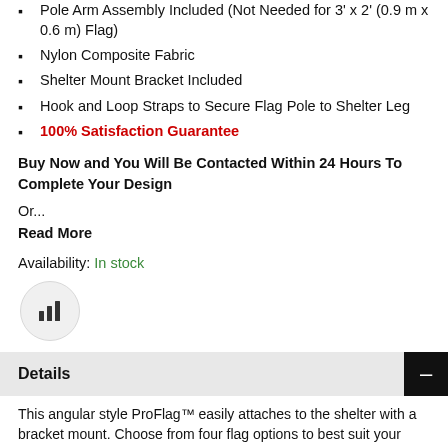Pole Arm Assembly Included (Not Needed for 3' x 2' (0.9 m x 0.6 m) Flag)
Nylon Composite Fabric
Shelter Mount Bracket Included
Hook and Loop Straps to Secure Flag Pole to Shelter Leg
100% Satisfaction Guarantee
Buy Now and You Will Be Contacted Within 24 Hours To Complete Your Design
Or...
Read More
Availability: In stock
[Figure (other): Bar chart icon inside a circular button]
Details
This angular style ProFlag™ easily attaches to the shelter with a bracket mount. Choose from four flag options to best suit your needs!